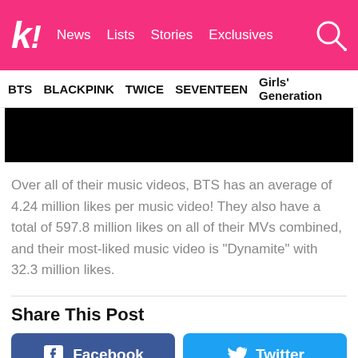K! News Lists Stories Exclusives
BTS   BLACKPINK   TWICE   SEVENTEEN   Girls' Generation
[Figure (photo): Black image block, likely a video thumbnail or image placeholder]
Over all of their music videos, BTS has an average of 4.24 million likes per music video! They also have a total of 597.8 million likes on all of their MVs combined, and their most-liked music video is “Dynamite” with 32.3 million likes.
Share This Post
Facebook   Twitter